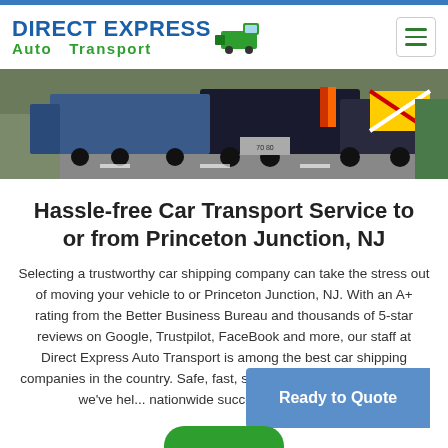[Figure (logo): Direct Express Auto Transport logo with truck icon]
[Figure (photo): Car transport trucks on a highway, rear view showing multiple car carrier trucks loaded with vehicles]
Hassle-free Car Transport Service to or from Princeton Junction, NJ
Selecting a trustworthy car shipping company can take the stress out of moving your vehicle to or Princeton Junction, NJ. With an A+ rating from the Better Business Bureau and thousands of 5-star reviews on Google, Trustpilot, FaceBook and more, our staff at Direct Express Auto Transport is among the best car shipping companies in the country. Safe, fast, straightforward, and affordable, we've hel... nationwide successfully ship their v...
[Figure (screenshot): Ready to Quote blue button overlay in bottom right]